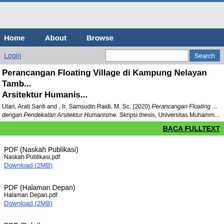Home   About   Browse
Login   Search
Perancangan Floating Village di Kampung Nelayan Tamb... Arsitektur Humanis...
Utari, Arati Santi and , Ir. Samsudin Raidi, M. Sc. (2020) Perancangan Floating ... dengan Pendekatan Arsitektur Humanisme. Skripsi thesis, Universitas Muhamm...
BACA FULLTEXT
PDF (Naskah Publikasi)
Naskah Publikasi.pdf
Download (2MB)
PDF (Halaman Depan)
Halaman Depan.pdf
Download (2MB)
PDF (Bab I)
BAB I.pdf
Download (1MB)